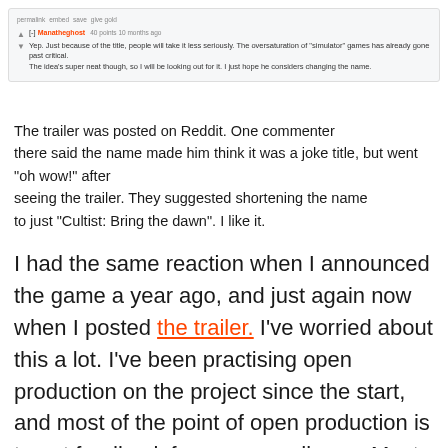[Figure (screenshot): Reddit comment screenshot showing username Manatheghost with 40 points, commenting about the simulator game title oversaturation and suggesting the name be changed.]
The trailer was posted on Reddit. One commenter there said the name made him think it was a joke title, but went "oh wow!" after seeing the trailer. They suggested shortening the name to just "Cultist: Bring the dawn". I like it.
I had the same reaction when I announced the game a year ago, and just again now when I posted the trailer. I've worried about this a lot. I've been practising open production on the project since the start, and most of the point of open production is to get feedback from your audience. Most people I've talked to haven't had this reaction, but sheesh, look at those 123 upvotes.